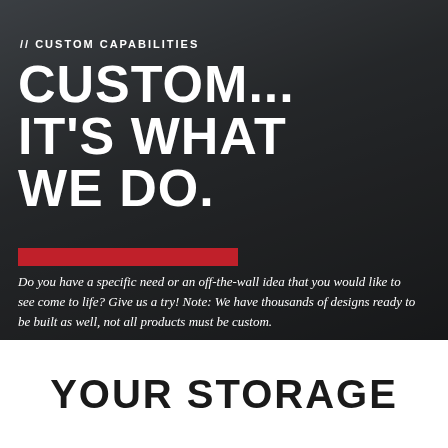[Figure (photo): Police officer in uniform accessing equipment from the trunk of a vehicle, with a dark overlay background.]
// CUSTOM CAPABILITIES
CUSTOM... IT'S WHAT WE DO.
Do you have a specific need or an off-the-wall idea that you would like to see come to life? Give us a try! Note: We have thousands of designs ready to be built as well, not all products must be custom.
YOUR STORAGE